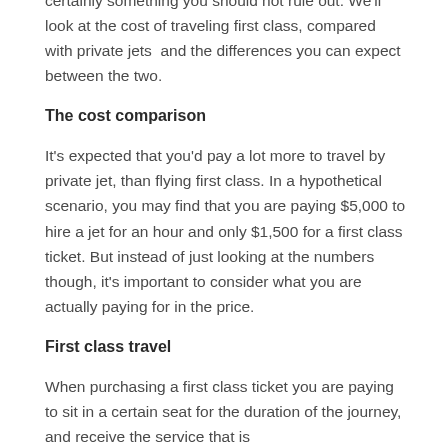certainly something you should not rule out. We'll look at the cost of traveling first class, compared with private jets  and the differences you can expect between the two.
The cost comparison
It's expected that you'd pay a lot more to travel by private jet, than flying first class. In a hypothetical scenario, you may find that you are paying $5,000 to hire a jet for an hour and only $1,500 for a first class ticket. But instead of just looking at the numbers though, it's important to consider what you are actually paying for in the price.
First class travel
When purchasing a first class ticket you are paying to sit in a certain seat for the duration of the journey, and receive the service that is